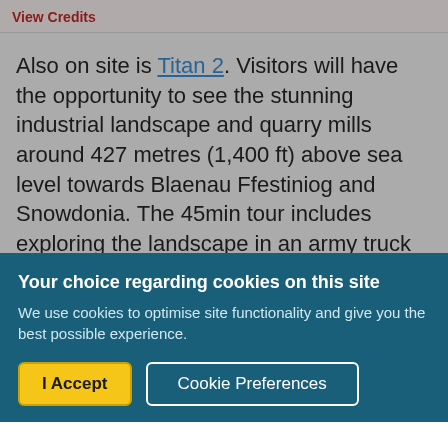View Credits
Also on site is Titan 2. Visitors will have the opportunity to see the stunning industrial landscape and quarry mills around 427 metres (1,400 ft) above sea level towards Blaenau Ffestiniog and Snowdonia. The 45min tour includes exploring the landscape in an army truck before kitting up for the four person zip
Your choice regarding cookies on this site
We use cookies to optimise site functionality and give you the best possible experience.
I Accept
Cookie Preferences